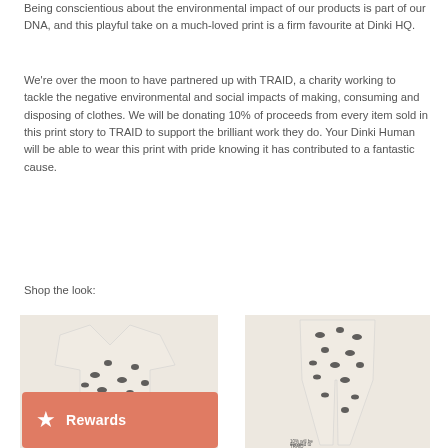Being conscientious about the environmental impact of our products is part of our DNA, and this playful take on a much-loved print is a firm favourite at Dinki HQ.
We're over the moon to have partnered up with TRAID, a charity working to tackle the negative environmental and social impacts of making, consuming and disposing of clothes. We will be donating 10% of proceeds from every item sold in this print story to TRAID to support the brilliant work they do. Your Dinki Human will be able to wear this print with pride knowing it has contributed to a fantastic cause.
Shop the look:
[Figure (photo): Two product photos side by side showing children's clothing in leopard/dalmatian print — a top/t-shirt on the left and leggings on the right. A salmon/coral colored Rewards button overlay appears in the bottom-left of the left image.]